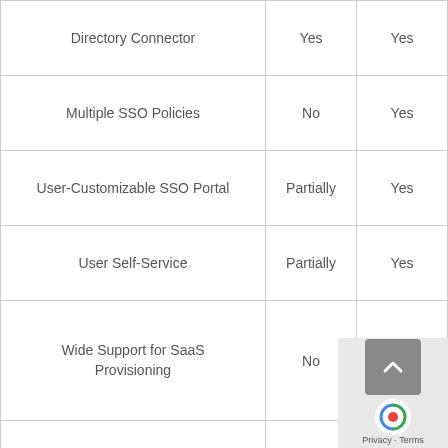| Feature | Column A | Column B |
| --- | --- | --- |
| Directory Connector | Yes | Yes |
| Multiple SSO Policies | No | Yes |
| User-Customizable SSO Portal | Partially | Yes |
| User Self-Service | Partially | Yes |
| Wide Support for SaaS Provisioning | No | Yes |
| Third-Party Multifactor Providers | No | Yes |
| Mobile SSO | No | Yes |
| SAML Authentication | Yes | Yes |
| REST API | Partially | Yes |
| Third-Party MDM Integration | No | Yes |
| Consumer-Facing IDM | Partially | Yes |
| Multiple Directory Integration | Yes | Yes |